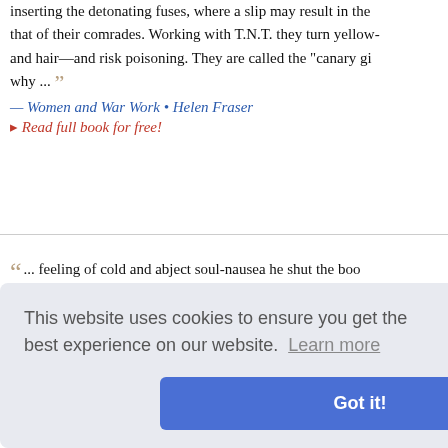inserting the detonating fuses, where a slip may result in the ... that of their comrades. Working with T.N.T. they turn yellow- and hair—and risk poisoning. They are called the "canary gi why ... — Women and War Work • Helen Fraser ▸ Read full book for free!
... feeling of cold and abject soul-nausea he shut the boo bookshelf in which he saw a gap, and went to turn out the la flickered and died out he heard Jimmy's foot shift on ... — In the Wilderness • Robert Hichens ▸ Read full book for free!
thhold from present, o ct and haz ngress, nor
edy • John ▸ Read full book for free!
This website uses cookies to ensure you get the best experience on our website. Learn more Got it!